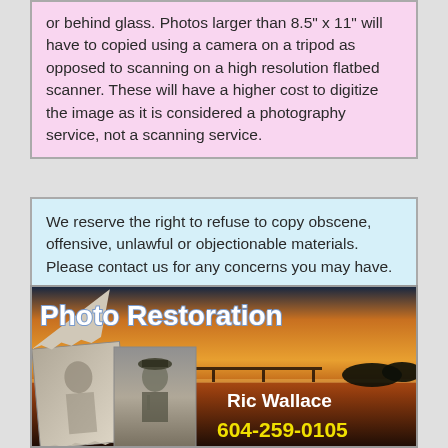or behind glass. Photos larger than 8.5" x 11" will have to copied using a camera on a tripod as opposed to scanning on a high resolution flatbed scanner. These will have a higher cost to digitize the image as it is considered a photography service, not a scanning service.
We reserve the right to refuse to copy obscene, offensive, unlawful or objectionable materials. Please contact us for any concerns you may have.
[Figure (infographic): Photo Restoration advertisement banner with sunset background showing a pier/dock at dusk. Includes old photograph collage on left side, title 'Photo Restoration' in white with blue outline, 'Ric Wallace' in white text, and '604-259-0105' in yellow text.]